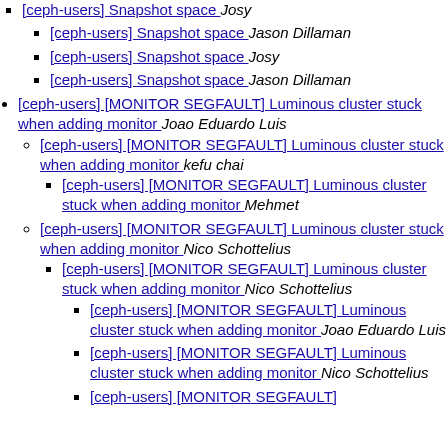[ceph-users] Snapshot space  Josy
[ceph-users] Snapshot space  Jason Dillaman
[ceph-users] Snapshot space  Josy
[ceph-users] Snapshot space  Jason Dillaman
[ceph-users] [MONITOR SEGFAULT] Luminous cluster stuck when adding monitor  Joao Eduardo Luis
[ceph-users] [MONITOR SEGFAULT] Luminous cluster stuck when adding monitor  kefu chai
[ceph-users] [MONITOR SEGFAULT] Luminous cluster stuck when adding monitor  Mehmet
[ceph-users] [MONITOR SEGFAULT] Luminous cluster stuck when adding monitor  Nico Schottelius
[ceph-users] [MONITOR SEGFAULT] Luminous cluster stuck when adding monitor  Nico Schottelius
[ceph-users] [MONITOR SEGFAULT] Luminous cluster stuck when adding monitor  Joao Eduardo Luis
[ceph-users] [MONITOR SEGFAULT] Luminous cluster stuck when adding monitor  Nico Schottelius
[ceph-users] [MONITOR SEGFAULT]